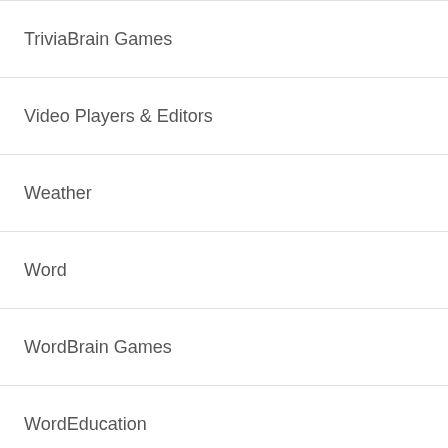TriviaBrain Games
Video Players & Editors
Weather
Word
WordBrain Games
WordEducation
Best Apps
nearme – Buy and Sell locally
3.0
★ 10.0
Lords Watch: Tower Defense RPG